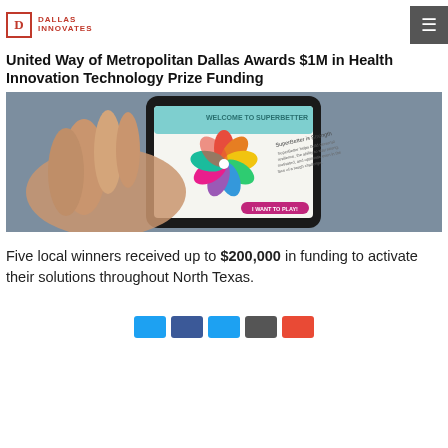Dallas Innovates
United Way of Metropolitan Dallas Awards $1M in Health Innovation Technology Prize Funding
[Figure (photo): A hand holding a smartphone displaying the SuperBetter app with a colorful pinwheel logo and text 'SuperBetter is Strength']
Five local winners received up to $200,000 in funding to activate their solutions throughout North Texas.